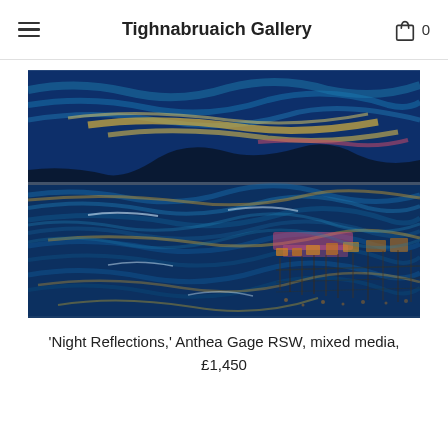Tighnabruaich Gallery
[Figure (illustration): Abstract mixed media painting titled 'Night Reflections' by Anthea Gage RSW. The painting depicts a nocturnal seascape with swirling blue and teal waves, dark mountain silhouettes in the background, gold and cream streaks of light across the sky and water, and warm pink and amber reflections of lights on the water's surface in the lower right area, suggesting a pier or town reflected at night.]
'Night Reflections,' Anthea Gage RSW, mixed media, £1,450